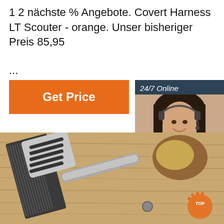1 2 nächste % Angebote. Covert Harness LT Scouter - orange. Unser bisheriger Preis 85,95
...
[Figure (other): Orange 'Get Price' button]
[Figure (other): 24/7 Online chat sidebar with woman wearing headset, 'Click here for free chat!' text and orange 'QUOTATION' button]
[Figure (photo): Stainless steel kitchen spatula/grater tool on wooden surface with potato in background]